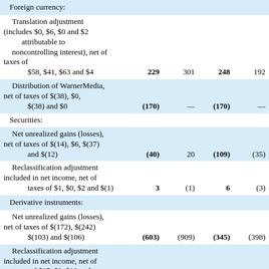|  |  |  |  |  |
| --- | --- | --- | --- | --- |
| Foreign currency: |  |  |  |  |
| Translation adjustment (includes $0, $6, $0 and $2 attributable to noncontrolling interest), net of taxes of $58, $41, $63 and $4 | 229 | 301 | 248 | 192 |
| Distribution of WarnerMedia, net of taxes of $(38), $0, $(38) and $0 | (170) | — | (170) | — |
| Securities: |  |  |  |  |
| Net unrealized gains (losses), net of taxes of $(14), $6, $(37) and $(12) | (40) | 20 | (109) | (35) |
| Reclassification adjustment included in net income, net of taxes of $1, $0, $2 and $(1) | 3 | (1) | 6 | (3) |
| Derivative instruments: |  |  |  |  |
| Net unrealized gains (losses), net of taxes of $(172), $(242) $(103) and $(106) | (603) | (909) | (345) | (398) |
| Reclassification adjustment included in net income, net of taxes of $17, $0, $19 and ... |  |  |  |  |